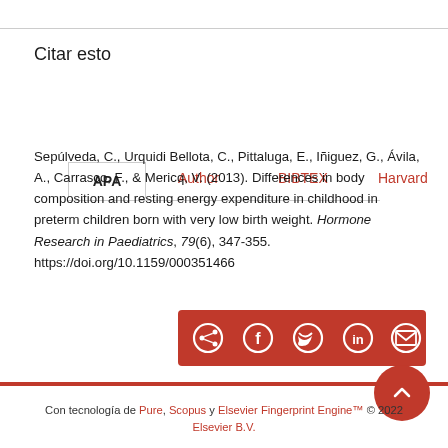Citar esto
APA   Author   BIBTEX   Harvard   ...
Sepúlveda, C., Urquidi Bellota, C., Pittaluga, E., Iñiguez, G., Ávila, A., Carrasco, F., & Mericq, V. (2013). Differences in body composition and resting energy expenditure in childhood in preterm children born with very low birth weight. Hormone Research in Paediatrics, 79(6), 347-355. https://doi.org/10.1159/000351466
[Figure (infographic): Social share buttons bar on dark red background: share, Facebook, Twitter, LinkedIn, email icons]
Con tecnología de Pure, Scopus y Elsevier Fingerprint Engine™ © 2022 Elsevier B.V.